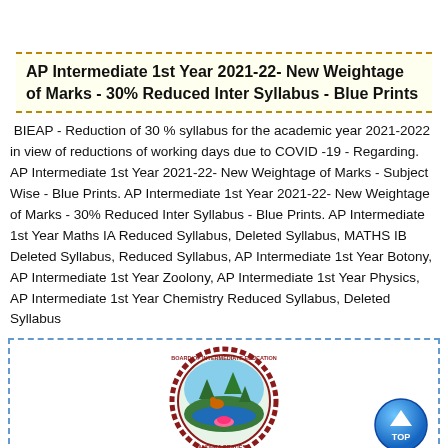AP Intermediate 1st Year 2021-22- New Weightage of Marks - 30% Reduced Inter Syllabus - Blue Prints
BIEAP - Reduction of 30 % syllabus for the academic year 2021-2022 in view of reductions of working days due to COVID -19 - Regarding. AP Intermediate 1st Year 2021-22- New Weightage of Marks - Subject Wise - Blue Prints. AP Intermediate 1st Year 2021-22- New Weightage of Marks - 30% Reduced Inter Syllabus - Blue Prints. AP Intermediate 1st Year Maths IA Reduced Syllabus, Deleted Syllabus, MATHS IB Deleted Syllabus, Reduced Syllabus, AP Intermediate 1st Year Botony, AP Intermediate 1st Year Zoolony, AP Intermediate 1st Year Physics, AP Intermediate 1st Year Chemistry Reduced Syllabus, Deleted Syllabus
[Figure (logo): Circular seal/emblem of Board of Intermediate Education, Andhra Pradesh, with red border and nature imagery inside. Blue 'TOP' button in bottom-right corner.]